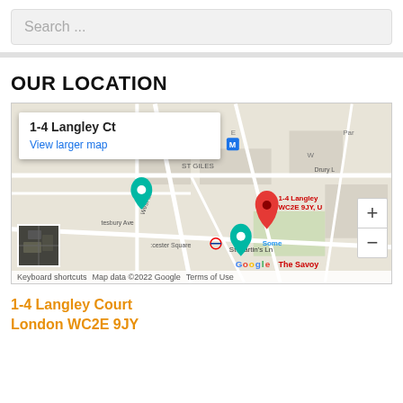Search ...
OUR LOCATION
[Figure (map): Google Map showing location of 1-4 Langley Ct, WC2E 9JY, London. Map shows ST GILES area, Leicester Square, St Martin's Ln, The Savoy, Drury Lane area. Red pin marks the location. Map popup shows address '1-4 Langley Ct' with 'View larger map' link. Satellite thumbnail in bottom-left corner. Zoom controls on right side. Footer: 'Keyboard shortcuts  Map data ©2022 Google  Terms of Use']
1-4 Langley Court
London WC2E 9JY